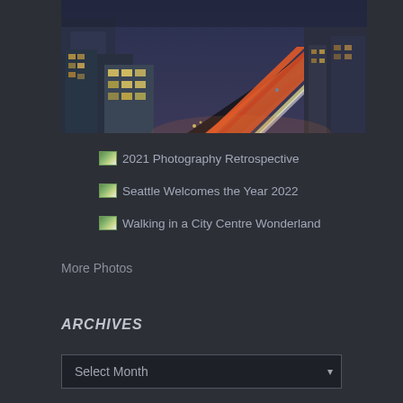[Figure (photo): Aerial night-time photo of a city with a major illuminated highway and urban buildings]
2021 Photography Retrospective
Seattle Welcomes the Year 2022
Walking in a City Centre Wonderland
More Photos
ARCHIVES
Select Month